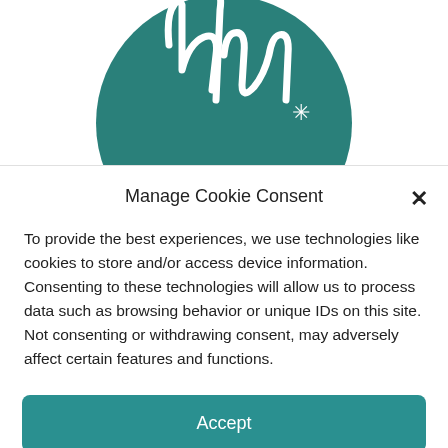[Figure (logo): Circular teal/dark green logo with white handwritten-style lettering, partially visible at top of page]
Manage Cookie Consent
To provide the best experiences, we use technologies like cookies to store and/or access device information. Consenting to these technologies will allow us to process data such as browsing behavior or unique IDs on this site. Not consenting or withdrawing consent, may adversely affect certain features and functions.
Accept
Opt-out preferences